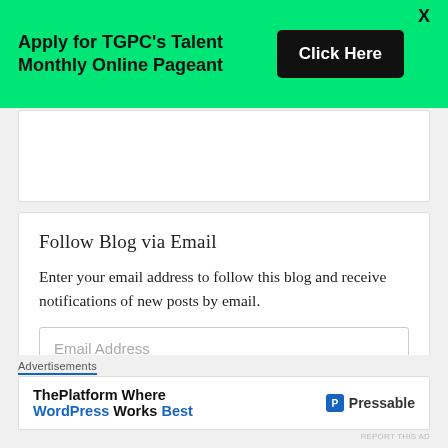[Figure (screenshot): Green banner advertisement for TGPC Talent Monthly Online Pageant with 'Click Here' button and close X]
Apply for TGPC's Talent Monthly Online Pageant
Follow Blog via Email
Enter your email address to follow this blog and receive notifications of new posts by email.
Email Address
Advertisements
[Figure (screenshot): Pressable advertisement: ThePlatform Where WordPress Works Best]